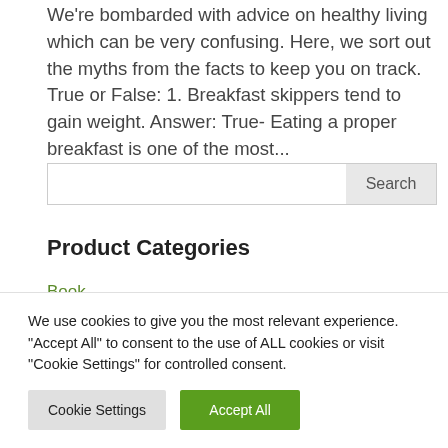We're bombarded with advice on healthy living which can be very confusing. Here, we sort out the myths from the facts to keep you on track. True or False: 1. Breakfast skippers tend to gain weight. Answer: True- Eating a proper breakfast is one of the most...
Search
Product Categories
Book
Herbal Supplements
We use cookies to give you the most relevant experience. "Accept All" to consent to the use of ALL cookies or visit "Cookie Settings" for controlled consent.
Cookie Settings
Accept All